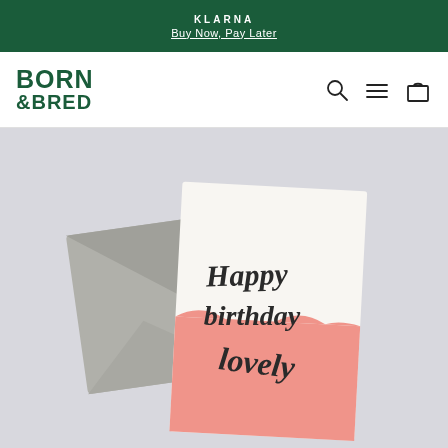KLARNA
Buy Now, Pay Later
[Figure (logo): Born & Bred logo in dark green]
[Figure (photo): A greeting card reading 'Happy birthday lovely' with a pink watercolor bottom section, propped against a grey envelope on a light grey surface]